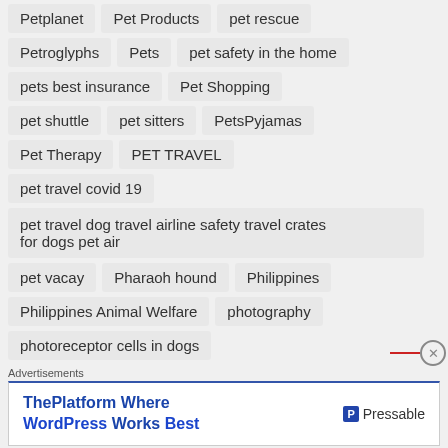Petplanet
Pet Products
pet rescue
Petroglyphs
Pets
pet safety in the home
pets best insurance
Pet Shopping
pet shuttle
pet sitters
PetsPyjamas
Pet Therapy
PET TRAVEL
pet travel covid 19
pet travel dog travel airline safety travel crates for dogs pet air
pet vacay
Pharaoh hound
Philippines
Philippines Animal Welfare
photography
photoreceptor cells in dogs
Advertisements
ThePlatform Where WordPress Works Best — Pressable